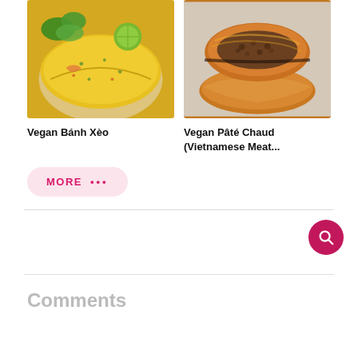[Figure (photo): Photo of Vegan Bánh Xèo - Vietnamese sizzling crepe with herbs and lime]
Vegan Bánh Xèo
[Figure (photo): Photo of Vegan Pâté Chaud - Vietnamese meat pie pastry cut in half showing filling]
Vegan Pâté Chaud (Vietnamese Meat...
MORE •••
Comments